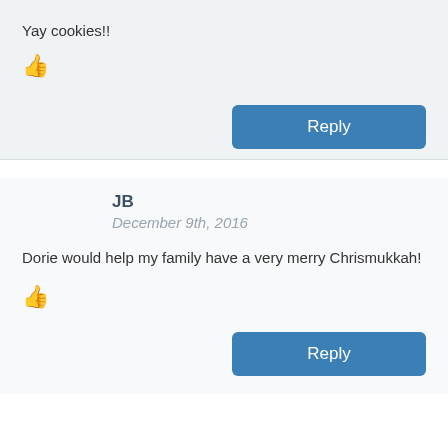Yay cookies!!
[Figure (illustration): Thumbs up icon]
Reply
JB
December 9th, 2016
Dorie would help my family have a very merry Chrismukkah!
[Figure (illustration): Thumbs up icon]
Reply